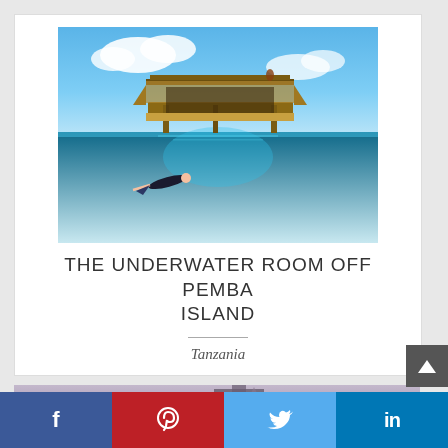[Figure (photo): Split underwater/above-water photo of a floating wooden structure on the ocean with a person swimming underwater beneath it, blue sky and clouds above, clear blue water below]
THE UNDERWATER ROOM OFF PEMBA ISLAND
Tanzania
[Figure (photo): Partial view of a second photo showing a building structure against a purple/grey sky]